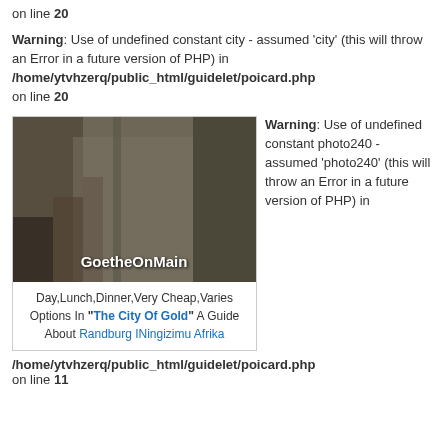on line 20
Warning: Use of undefined constant city - assumed 'city' (this will throw an Error in a future version of PHP) in /home/ytvhzerq/public_html/guidelet/poicard.php on line 20
[Figure (photo): Photo of people walking through glass doors of a building, with text overlay 'GoetheOnMain' at the bottom]
Day,Lunch,Dinner,Very Cheap,Varies Options In "The City Of Gold" A Guide About Randburg INingizimu Afrika
Warning: Use of undefined constant photo240 - assumed 'photo240' (this will throw an Error in a future version of PHP) in /home/ytvhzerq/public_html/guidelet/poicard.php on line 11